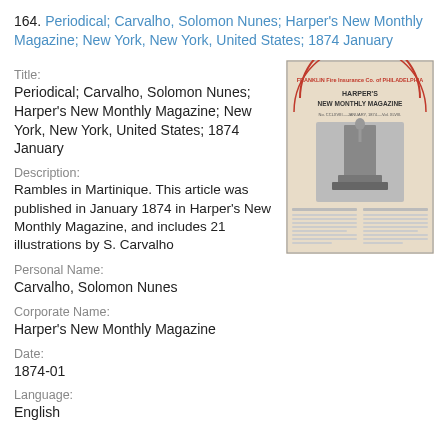164. Periodical; Carvalho, Solomon Nunes; Harper's New Monthly Magazine; New York, New York, United States; 1874 January
Title:
Periodical; Carvalho, Solomon Nunes; Harper's New Monthly Magazine; New York, New York, United States; 1874 January
[Figure (photo): Scanned page of Harper's New Monthly Magazine showing a monument illustration and text columns, with a Franklin Fire Insurance Co. of Philadelphia stamp at the top.]
Description:
Rambles in Martinique. This article was published in January 1874 in Harper's New Monthly Magazine, and includes 21 illustrations by S. Carvalho
Personal Name:
Carvalho, Solomon Nunes
Corporate Name:
Harper's New Monthly Magazine
Date:
1874-01
Language:
English